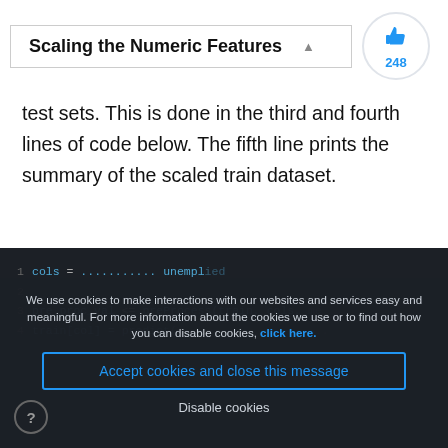Scaling the Numeric Features
test sets. This is done in the third and fourth lines of code below. The fifth line prints the summary of the scaled train dataset.
The output shows that now all the numeric features have a mean value of zero except the target variable, unemploy, which was not scaled.
We use cookies to make interactions with our websites and services easy and meaningful. For more information about the cookies we use or to find out how you can disable cookies, click here.
Accept cookies and close this message
Disable cookies